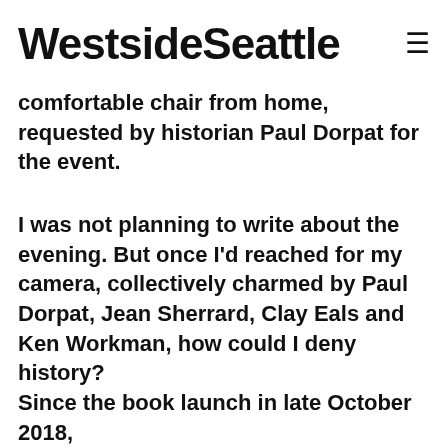Westside Seattle
comfortable chair from home, requested by historian Paul Dorpat for the event.
I was not planning to write about the evening. But once I'd reached for my camera, collectively charmed by Paul Dorpat, Jean Sherrard, Clay Eals and Ken Workman, how could I deny history?
Since the book launch in late October 2018,